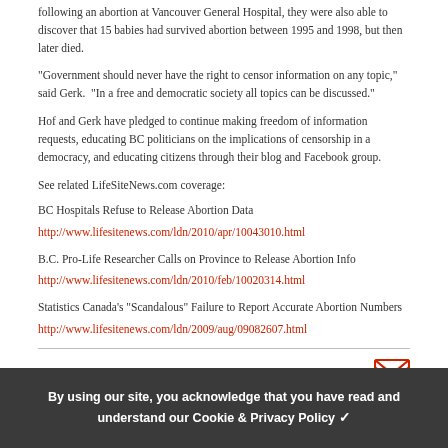following an abortion at Vancouver General Hospital, they were also able to discover that 15 babies had survived abortion between 1995 and 1998, but then later died.
"Government should never have the right to censor information on any topic," said Gerk. "In a free and democratic society all topics can be discussed."
Hof and Gerk have pledged to continue making freedom of information requests, educating BC politicians on the implications of censorship in a democracy, and educating citizens through their blog and Facebook group.
See related LifeSiteNews.com coverage:
BC Hospitals Refuse to Release Abortion Data
http://www.lifesitenews.com/ldn/2010/apr/10043010.html
B.C. Pro-Life Researcher Calls on Province to Release Abortion Info
http://www.lifesitenews.com/ldn/2010/feb/10020314.html
Statistics Canada's "Scandalous" Failure to Report Accurate Abortion Numbers
http://www.lifesitenews.com/ldn/2009/aug/09082607.html
TAGS: BRITISH COLUMBIA, LIFE    EMAIL US
By using our site, you acknowledge that you have read and understand our Cookie & Privacy Policy